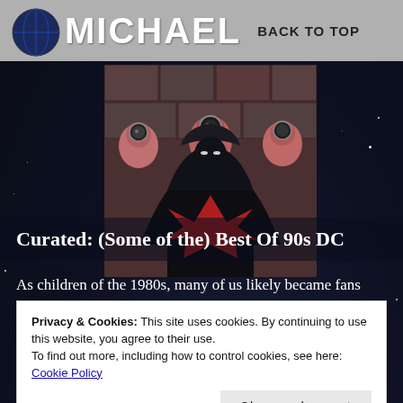MICHAEL   BACK TO TOP
[Figure (illustration): Comic book cover art showing Batman-like figure surrounded by masked figures in hazmat suits, red and dark tones]
Curated: (Some of the) Best Of 90s DC
As children of the 1980s, many of us likely became fans
Privacy & Cookies: This site uses cookies. By continuing to use this website, you agree to their use.
To find out more, including how to control cookies, see here: Cookie Policy
Close and accept
equally big things over in their sandbox with Spider-Man